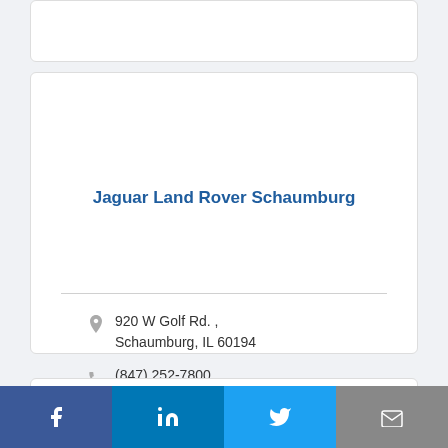Jaguar Land Rover Schaumburg
920 W Golf Rd. , Schaumburg, IL 60194
(847) 252-7800
[Figure (other): Social media share bar with Facebook, LinkedIn, Twitter, and email icons]